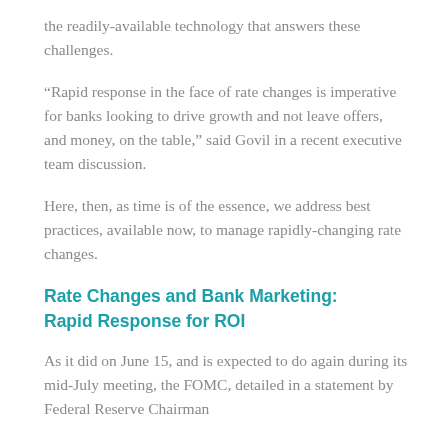the readily-available technology that answers these challenges.
“Rapid response in the face of rate changes is imperative for banks looking to drive growth and not leave offers, and money, on the table,” said Govil in a recent executive team discussion.
Here, then, as time is of the essence, we address best practices, available now, to manage rapidly-changing rate changes.
Rate Changes and Bank Marketing: Rapid Response for ROI
As it did on June 15, and is expected to do again during its mid-July meeting, the FOMC, detailed in a statement by Federal Reserve Chairman